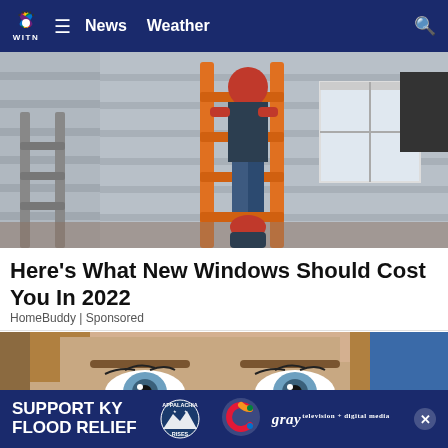WITN News Weather
[Figure (photo): Workers installing a window on a house exterior, with an orange ladder visible and a person in a red top and jeans]
Here's What New Windows Should Cost You In 2022
HomeBuddy | Sponsored
[Figure (photo): Close-up of a woman's blue eyes and face, with a person in a blue jacket partially visible on the right. Banner overlay reads: SUPPORT KY FLOOD RELIEF with Appalachia Rises and gray logos.]